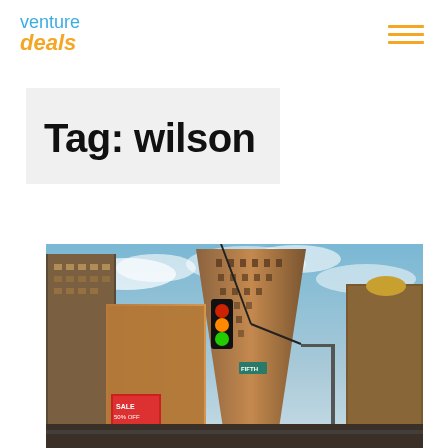venture deals
Tag: wilson
[Figure (photo): Urban street photo showing the Flatiron Building in New York City with a traffic light in the foreground and surrounding buildings under a partly cloudy sky]